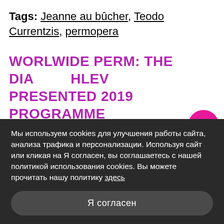Tags: Jeanne au bûcher, Teodor Currentzis, permopera
WORLWIDE PERM: THE DIAGHLEV PRESENTED 2019 PROGRAMME
11 march 2019
Мы используем cookies для улучшения работы сайта, анализа трафика и персонализации. Используя сайт или кликая на Я согласен, вы соглашаетесь с нашей политикой использования cookies. Вы можете прочитать нашу политику здесь